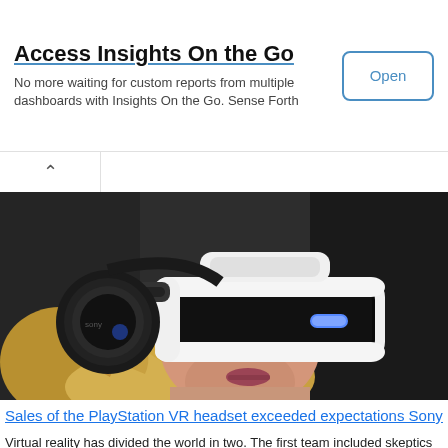Access Insights On the Go
No more waiting for custom reports from multiple dashboards with Insights On the Go. Sense Forth
[Figure (screenshot): Open button - blue outlined rounded rectangle button with text 'Open']
[Figure (photo): Woman wearing a Sony PlayStation VR headset and Sony headphones, close-up photo]
Sales of the PlayStation VR headset exceeded expectations Sony
Virtual reality has divided the world in two. The first team included skeptics who do not believe in the success of new technology and predict her sad fate in the coming years, and the second command, on the contrary, believes in ...
[Figure (photo): Partial view of another article image at bottom of page - appears to show VR or tech related content]